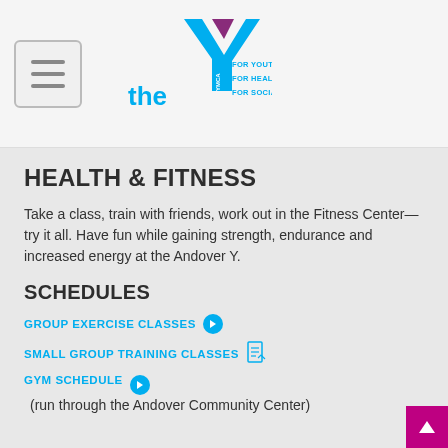[Figure (logo): YMCA logo with the Y icon in blue and purple, with text 'the Y' and tagline: FOR YOUTH DEVELOPMENT / FOR HEALTHY LIVING / FOR SOCIAL RESPONSIBILITY]
HEALTH & FITNESS
Take a class, train with friends, work out in the Fitness Center—try it all. Have fun while gaining strength, endurance and increased energy at the Andover Y.
SCHEDULES
GROUP EXERCISE CLASSES ❯
SMALL GROUP TRAINING CLASSES 📄
GYM SCHEDULE ❯ (run through the Andover Community Center)